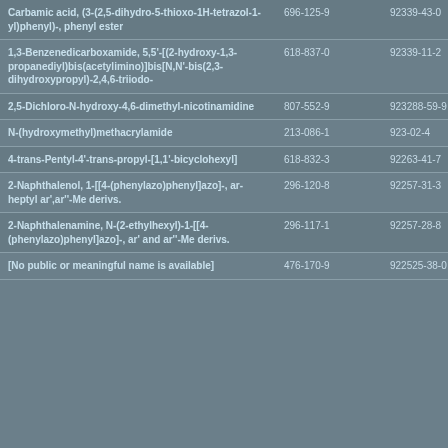| Name | EC Number | CAS Number |
| --- | --- | --- |
| Carbamic acid, (3-(2,5-dihydro-5-thioxo-1H-tetrazol-1-yl)phenyl)-, phenyl ester | 696-125-9 | 92339-43-0 |
| 1,3-Benzenedicarboxamide, 5,5'-[(2-hydroxy-1,3-propanediyl)bis(acetylimino)]bis[N,N'-bis(2,3-dihydroxypropyl)-2,4,6-triiodo- | 618-837-0 | 92339-11-2 |
| 2,5-Dichloro-N-hydroxy-4,6-dimethyl-nicotinamidine | 807-552-9 | 923288-59-9 |
| N-(hydroxymethyl)methacrylamide | 213-086-1 | 923-02-4 |
| 4-trans-Pentyl-4'-trans-propyl-[1,1'-bicyclohexyl] | 618-832-3 | 92263-41-7 |
| 2-Naphthalenol, 1-[[4-(phenylazo)phenyl]azo]-, ar-heptyl ar',ar''-Me derivs. | 296-120-8 | 92257-31-3 |
| 2-Naphthalenamine, N-(2-ethylhexyl)-1-[[4-(phenylazo)phenyl]azo]-, ar' and ar''-Me derivs. | 296-117-1 | 92257-28-8 |
| [No public or meaningful name is available] | 476-170-9 | 922525-38-0 |